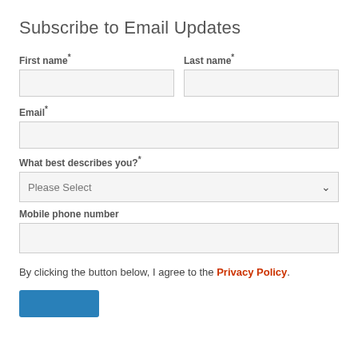Subscribe to Email Updates
First name*
Last name*
Email*
What best describes you?*
Please Select
Mobile phone number
By clicking the button below, I agree to the Privacy Policy.